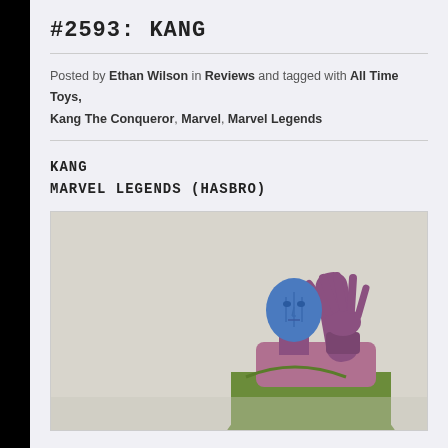#2593: KANG
Posted by Ethan Wilson in Reviews and tagged with All Time Toys, Kang The Conqueror, Marvel, Marvel Legends
KANG
MARVEL LEGENDS (HASBRO)
[Figure (photo): Photo of a Marvel Legends Kang the Conqueror action figure showing the upper body and head. The figure has a blue face/helmet, purple skin on the arms and neck, wearing a green and pink/mauve costume. One arm is raised with fingers outstretched. Background is light grey.]